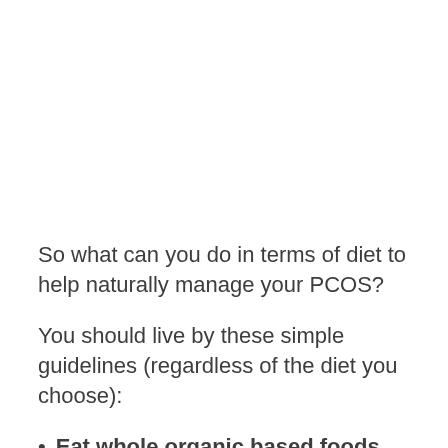So what can you do in terms of diet to help naturally manage your PCOS?
You should live by these simple guidelines (regardless of the diet you choose):
Eat whole organic based foods